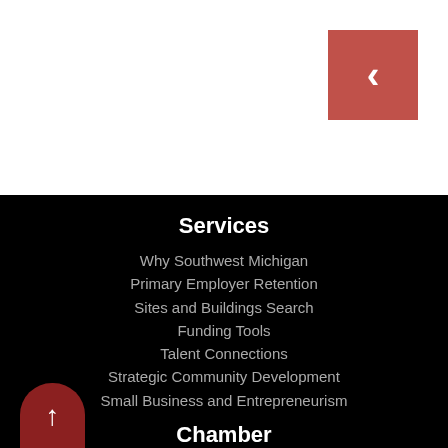[Figure (other): Red back button with left-pointing chevron arrow in top-right corner of white area]
Services
Why Southwest Michigan
Primary Employer Retention
Sites and Buildings Search
Funding Tools
Talent Connections
Strategic Community Development
Small Business and Entrepreneurism
Chamber
Chamber Membership
[Figure (other): Dark red rounded up-arrow button at bottom left]